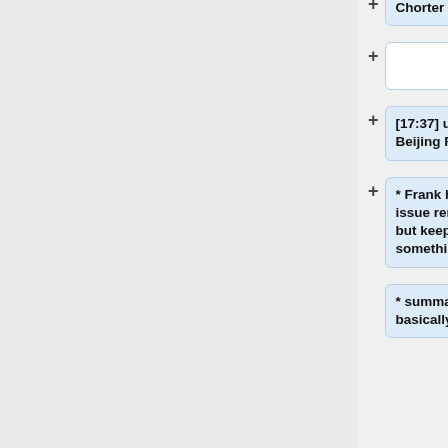Chorter as Chair
[17:37] update from Frank on Beijing FOSS4G conference
* Frank had nothing to report; issue removed from his plate, but keep topic item open as something to watch
* summary statement remains basically as last